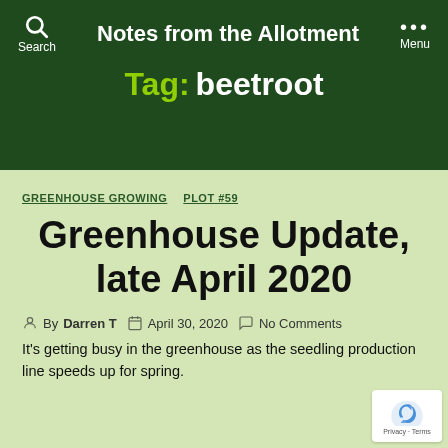Notes from the Allotment
Tag: beetroot
GREENHOUSE GROWING   PLOT #59
Greenhouse Update, late April 2020
By Darren T   April 30, 2020   No Comments
It's getting busy in the greenhouse as the seedling production line speeds up for spring.